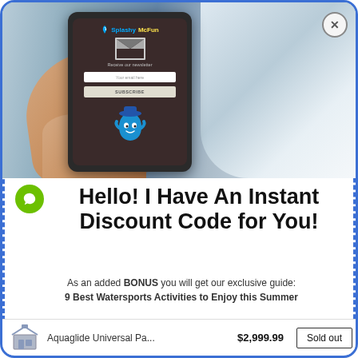[Figure (screenshot): A hand holding a smartphone showing the SplashyMcFun website with a newsletter subscription popup. The phone screen shows the brand logo 'SplashyMcFun', an email envelope icon, 'Receive our newsletter' text, an email input field, a SUBSCRIBE button, and a blue water droplet mascot character.]
Hello! I Have An Instant Discount Code for You!
As an added BONUS you will get our exclusive guide: 9 Best Watersports Activities to Enjoy this Summer
Enter your email here...
Aquaglide Universal Pa... $2,999.99 Sold out